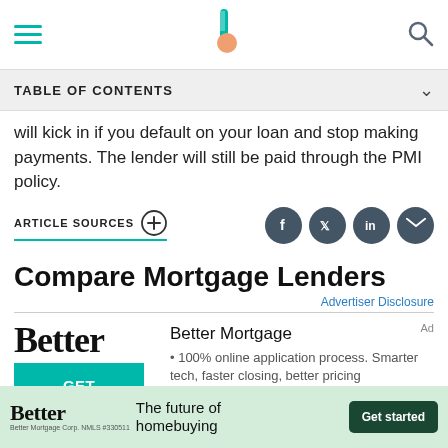Navigation bar with hamburger menu, logo, and search icon
TABLE OF CONTENTS
will kick in if you default on your loan and stop making payments. The lender will still be paid through the PMI policy.
ARTICLE SOURCES +
Compare Mortgage Lenders
Advertiser Disclosure
Better Mortgage
• 100% online application process. Smarter tech, faster closing, better pricing
[Figure (logo): Better logo with GET STARTED button]
Ad
Better The future of homebuying — Get started — Better Mortgage Corp. NMLS #330511